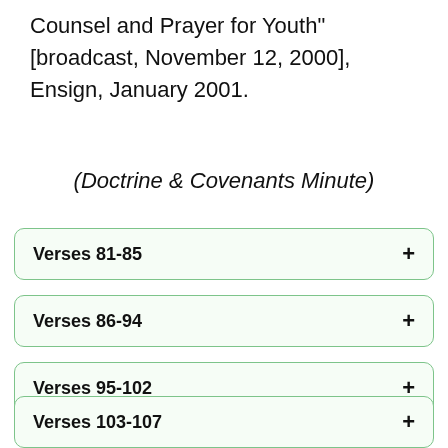Counsel and Prayer for Youth" [broadcast, November 12, 2000], Ensign, January 2001.
(Doctrine & Covenants Minute)
Verses 81-85
Verses 86-94
Verses 95-102
Verses 103-107